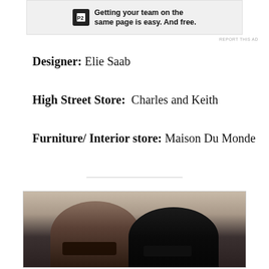[Figure (other): Advertisement banner for P2 with text 'Getting your team on the same page is easy. And free.']
REPORT THIS AD
Designer: Elie Saab
High Street Store:  Charles and Keith
Furniture/ Interior store: Maison Du Monde
[Figure (photo): Two women photographed together, one with dark hair wearing sunglasses, the other wearing a black head covering with glasses visible.]